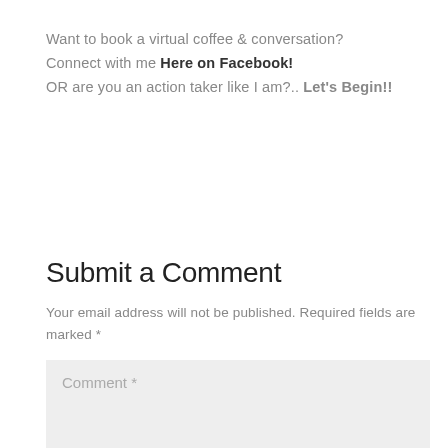Want to book a virtual coffee & conversation?
Connect with me Here on Facebook!
OR are you an action taker like I am?.. Let's Begin!!
Submit a Comment
Your email address will not be published. Required fields are marked *
Comment *